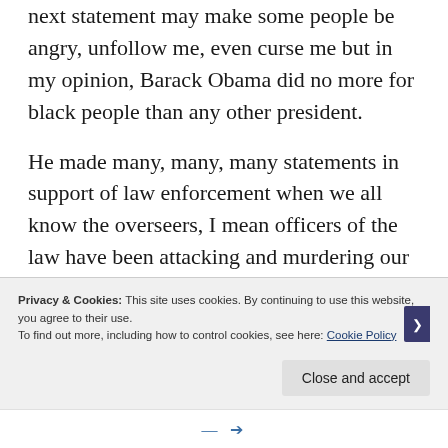next statement may make some people be angry, unfollow me, even curse me but in my opinion, Barack Obama did no more for black people than any other president.
He made many, many, many statements in support of law enforcement when we all know the overseers, I mean officers of the law have been attacking and murdering our people like never before, with no recourse. He even signed into law the “Blue Alert Law”, a law that
Privacy & Cookies: This site uses cookies. By continuing to use this website, you agree to their use.
To find out more, including how to control cookies, see here: Cookie Policy
Close and accept